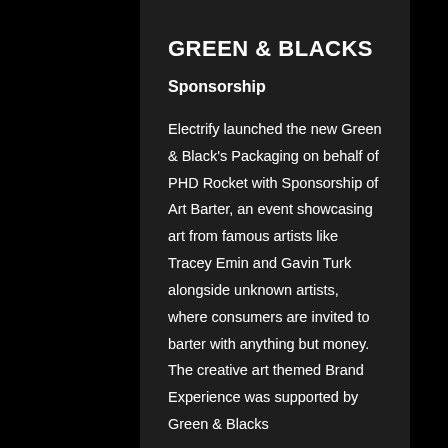GREEN & BLACKS
Sponsorship
Electrify launched the new Green & Black's Packaging on behalf of PHD Rocket with Sponsorship of Art Barter, an event showcasing art from famous artists like Tracey Emin and Gavin Turk alongside unknown artists, where consumers are invited to barter with anything but money. The creative art themed Brand Experience was supported by Green & Blacks